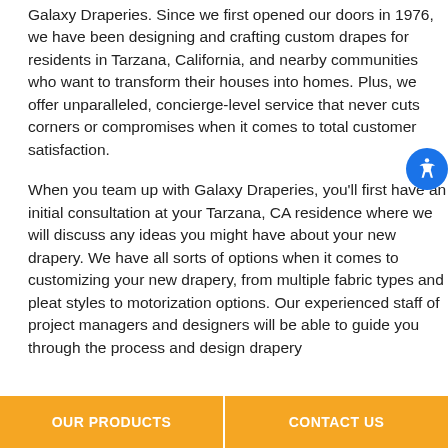Galaxy Draperies. Since we first opened our doors in 1976, we have been designing and crafting custom drapes for residents in Tarzana, California, and nearby communities who want to transform their houses into homes. Plus, we offer unparalleled, concierge-level service that never cuts corners or compromises when it comes to total customer satisfaction.
When you team up with Galaxy Draperies, you'll first have an initial consultation at your Tarzana, CA residence where we will discuss any ideas you might have about your new drapery. We have all sorts of options when it comes to customizing your new drapery, from multiple fabric types and pleat styles to motorization options. Our experienced staff of project managers and designers will be able to guide you through the process and design drapery
OUR PRODUCTS    CONTACT US